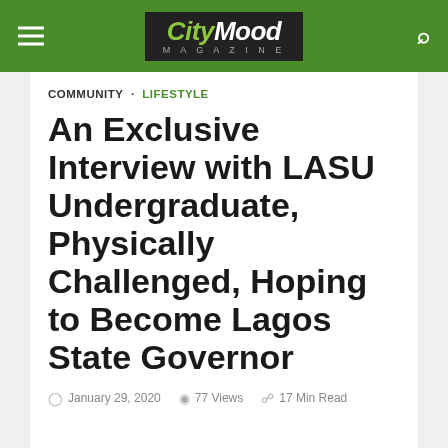CityMood Magazine
COMMUNITY · LIFESTYLE
An Exclusive Interview with LASU Undergraduate, Physically Challenged, Hoping to Become Lagos State Governor
January 29, 2020  77 Views  17 Min Read